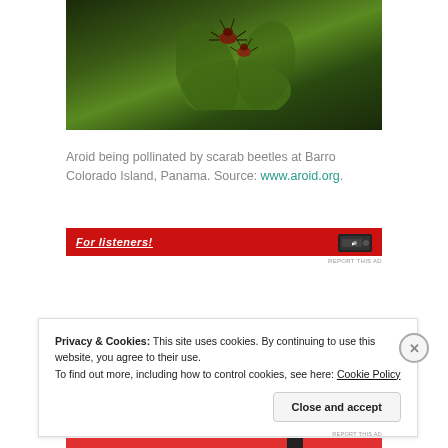[Figure (photo): Close-up photograph of an aroid plant being pollinated by scarab beetles at Barro Colorado Island, Panama. Dark green leaves with reddish-brown beetles visible.]
Aroid being pollinated by scarab beetles at Barro Colorado Island, Panama. Source: www.aroid.org.
[Figure (screenshot): Red advertisement banner with white italic underlined text reading 'For listeners!' and a small device icon on the right. REPORT THIS AD label below.]
Privacy & Cookies: This site uses cookies. By continuing to use this website, you agree to their use. To find out more, including how to control cookies, see here: Cookie Policy
Close and accept